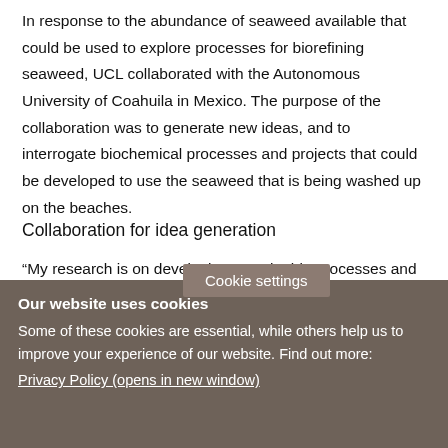In response to the abundance of seaweed available that could be used to explore processes for biorefining seaweed, UCL collaborated with the Autonomous University of Coahuila in Mexico. The purpose of the collaboration was to generate new ideas, and to interrogate biochemical processes and projects that could be developed to use the seaweed that is being washed up on the beaches.
Collaboration for idea generation
“My research is on developing sustainable processes and technologies to biorefine seaweed,” explains Emily. “The ultimate aim is to recover and harness
Cookie settings
Our website uses cookies
Some of these cookies are essential, while others help us to improve your experience of our website. Find out more:
Privacy Policy (opens in new window)